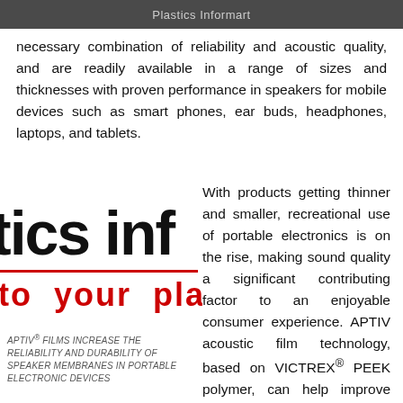Plastics Informart
necessary combination of reliability and acoustic quality, and are readily available in a range of sizes and thicknesses with proven performance in speakers for mobile devices such as smart phones, ear buds, headphones, laptops, and tablets.
[Figure (logo): Plastics Informart logo showing 'tics inf' in large bold black text with a red horizontal line and 'to your pla' in red bold text below]
APTIV® FILMS INCREASE THE RELIABILITY AND DURABILITY OF SPEAKER MEMBRANES IN PORTABLE ELECTRONIC DEVICES
With products getting thinner and smaller, recreational use of portable electronics is on the rise, making sound quality a significant contributing factor to an enjoyable consumer experience. APTIV acoustic film technology, based on VICTREX® PEEK polymer, can help improve consumer satisfaction by providing the reliability and durability that these users